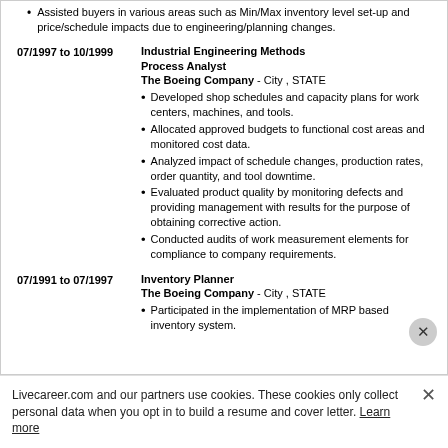Assisted buyers in various areas such as Min/Max inventory level set-up and price/schedule impacts due to engineering/planning changes.
07/1997 to 10/1999
Industrial Engineering Methods Process Analyst
The Boeing Company - City , STATE
Developed shop schedules and capacity plans for work centers, machines, and tools.
Allocated approved budgets to functional cost areas and monitored cost data.
Analyzed impact of schedule changes, production rates, order quantity, and tool downtime.
Evaluated product quality by monitoring defects and providing management with results for the purpose of obtaining corrective action.
Conducted audits of work measurement elements for compliance to company requirements.
07/1991 to 07/1997
Inventory Planner
The Boeing Company - City , STATE
Participated in the implementation of MRP based inventory system.
Livecareer.com and our partners use cookies. These cookies only collect personal data when you opt in to build a resume and cover letter. Learn more